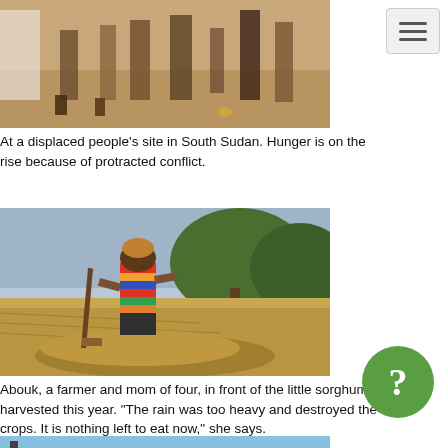[Figure (photo): Partially visible photo of a displaced people's site in South Sudan, showing sandy ground with people's feet and legs visible.]
At a displaced people's site in South Sudan. Hunger is on the rise because of protracted conflict.
[Figure (photo): A woman named Abouk, a farmer and mom of four, standing in front of a small pile of sorghum she harvested. She is wearing a colorful striped dress. The background shows dry harvested fields and trees.]
Abouk, a farmer and mom of four, in front of the little sorghum she harvested this year. "The rain was too heavy and destroyed the crops. It is nothing left to eat now," she says.
[Figure (photo): Partially visible photo at the bottom of the page showing a person near a bicycle with greenery in the background.]